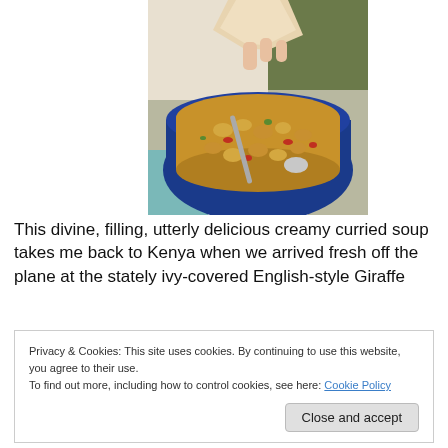[Figure (photo): A blue ceramic bowl filled with creamy curried soup containing beans, red peppers, and vegetables. A spoon is visible in the soup and a hand is dipping a piece of bread into it.]
This divine, filling, utterly delicious creamy curried soup takes me back to Kenya when we arrived fresh off the plane at the stately ivy-covered English-style Giraffe
Privacy & Cookies: This site uses cookies. By continuing to use this website, you agree to their use.
To find out more, including how to control cookies, see here: Cookie Policy
Close and accept